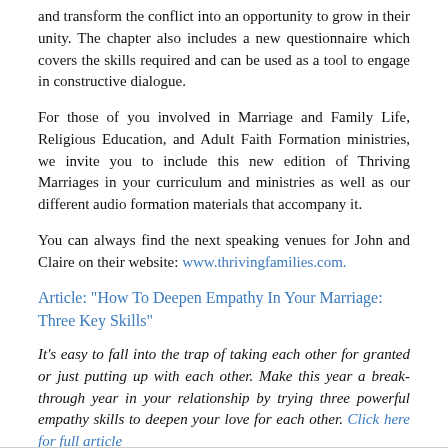and transform the conflict into an opportunity to grow in their unity. The chapter also includes a new questionnaire which covers the skills required and can be used as a tool to engage in constructive dialogue.
For those of you involved in Marriage and Family Life, Religious Education, and Adult Faith Formation ministries, we invite you to include this new edition of Thriving Marriages in your curriculum and ministries as well as our different audio formation materials that accompany it.
You can always find the next speaking venues for John and Claire on their website: www.thrivingfamilies.com.
Article: "How To Deepen Empathy In Your Marriage: Three Key Skills"
It’s easy to fall into the trap of taking each other for granted or just putting up with each other. Make this year a break-through year in your relationship by trying three powerful empathy skills to deepen your love for each other. Click here for full article